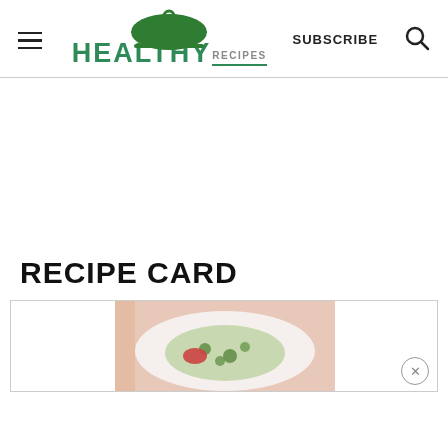HEALTHY RECIPES | SUBSCRIBE
[Figure (screenshot): Advertisement/blank white space area]
RECIPE CARD
[Figure (photo): A recipe card with a food photo showing a dish with green herbs on a white plate. A close/X button appears in the lower right corner of the card.]